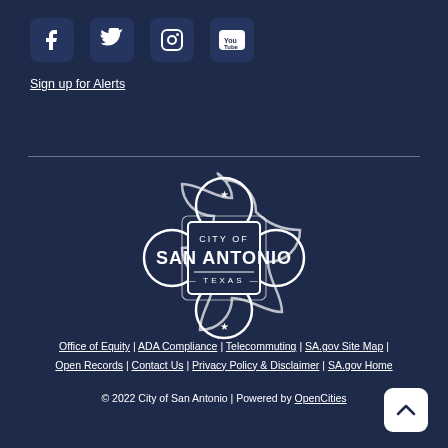[Figure (logo): Social media icons: Facebook, Twitter, Instagram, YouTube — white icons in dark rounded square boxes]
Sign up for Alerts
[Figure (logo): City of San Antonio, Texas official seal/badge logo in white outline on dark navy background]
Office of Equity | ADA Compliance | Telecommuting | SA.gov Site Map | Open Records | Contact Us | Privacy Policy & Disclaimer | SA.gov Home
© 2022 City of San Antonio | Powered by OpenCities